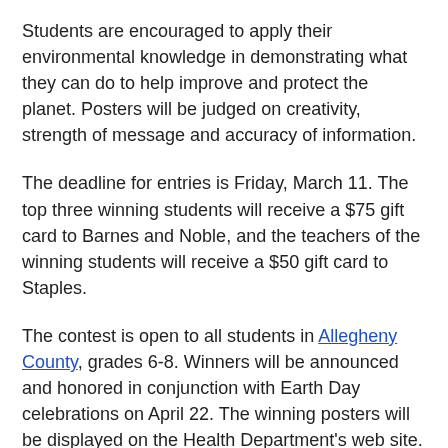Students are encouraged to apply their environmental knowledge in demonstrating what they can do to help improve and protect the planet. Posters will be judged on creativity, strength of message and accuracy of information.
The deadline for entries is Friday, March 11. The top three winning students will receive a $75 gift card to Barnes and Noble, and the teachers of the winning students will receive a $50 gift card to Staples.
The contest is open to all students in Allegheny County, grades 6-8. Winners will be announced and honored in conjunction with Earth Day celebrations on April 22. The winning posters will be displayed on the Health Department's web site.
Subscribe to our Business mailing list to receive email only specials